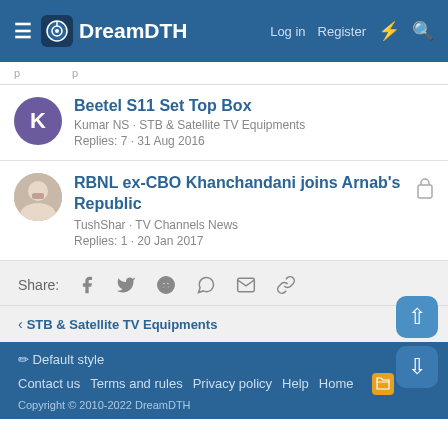DreamDTH — Log in · Register
Beetel S11 Set Top Box
Kumar NS · STB & Satellite TV Equipments
Replies: 7 · 31 Aug 2016
RBNL ex-CBO Khanchandani joins Arnab's Republic
TushShar · TV Channels News
Replies: 1 · 20 Jan 2017
Share:
STB & Satellite TV Equipments
Default style
Contact us · Terms and rules · Privacy policy · Help · Home
Copyright © 2010-2022 DreamDTH